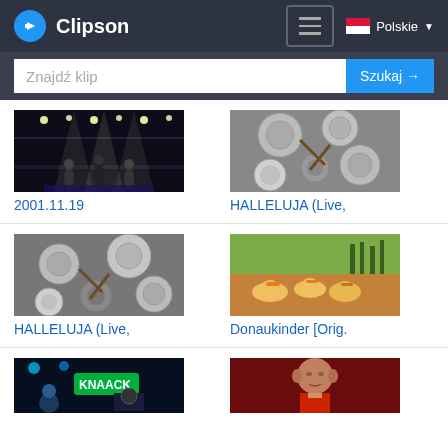Clipson
Znajdź klip
[Figure (screenshot): Concert stage with performers and bright lights - thumbnail for video 2001.11.19]
2001.11.19
[Figure (screenshot): Overhead view of drum kit with cymbals - thumbnail for HALLELUJA (Live,]
HALLELUJA (Live,
[Figure (screenshot): Close-up of drum kit cymbals - thumbnail for HALLELUJA (Live,]
HALLELUJA (Live,
[Figure (screenshot): Pelicans/birds in a wetland area with National Geographic watermark - thumbnail for Donaukinder [Orig.]
Donaukinder [Orig.
[Figure (screenshot): KNAACK band performing with green neon sign - thumbnail]
[Figure (screenshot): Bald man singing, lit in red - thumbnail]